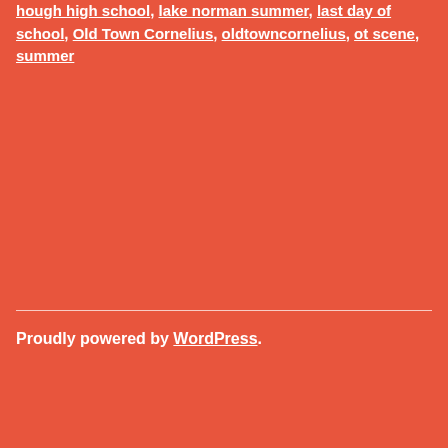hough high school, lake norman summer, last day of school, Old Town Cornelius, oldtowncornelius, ot scene, summer
Proudly powered by WordPress.